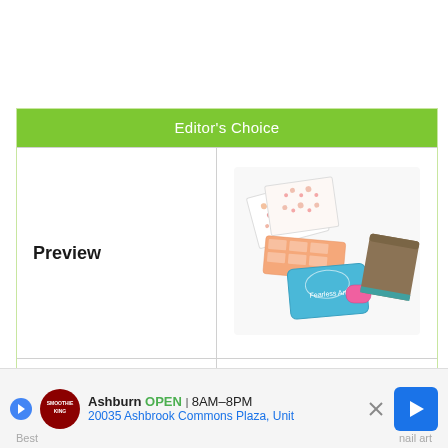Editor's Choice
Preview
[Figure (photo): Nail art kit product photo showing nail stickers, nail polish, stamping plate, sponge, and packaging spread on white background]
| Product Name | Fearless Nail Art |
| --- | --- |
Best
nail art
Ashburn OPEN 8AM–8PM 20035 Ashbrook Commons Plaza, Unit